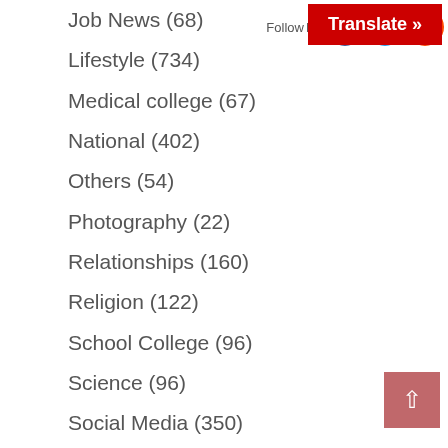[Figure (screenshot): Red Translate button with white bold text 'Translate »']
[Figure (screenshot): Social follow icons: Facebook (blue), Twitter (blue), Reddit (orange), with 'Follow' text]
Job News (68)
Lifestyle (734)
Medical college (67)
National (402)
Others (54)
Photography (22)
Relationships (160)
Religion (122)
School College (96)
Science (96)
Social Media (350)
Software (108)
Song Dance (35)
Sports (63)
Success Story (87)
Technology (171)
Travel (30)
Tutorial (60)